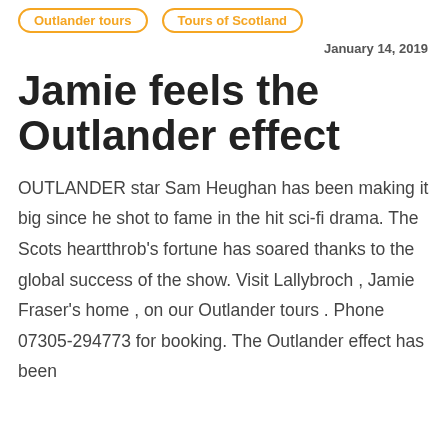Outlander tours
Tours of Scotland
January 14, 2019
Jamie feels the Outlander effect
OUTLANDER star Sam Heughan has been making it big since he shot to fame in the hit sci-fi drama. The Scots heartthrob’s fortune has soared thanks to the global success of the show. Visit Lallybroch , Jamie Fraser’s home , on our Outlander tours . Phone 07305-294773 for booking. The Outlander effect has been...